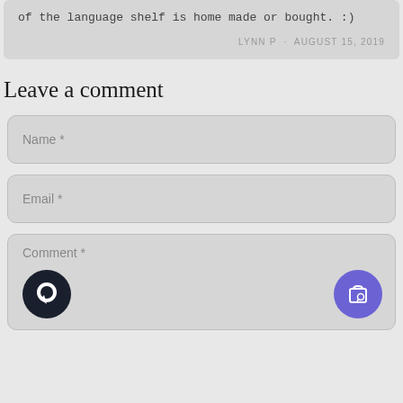of the language shelf is home made or bought. :)
LYNN P · AUGUST 15, 2019
Leave a comment
Name *
Email *
Comment *